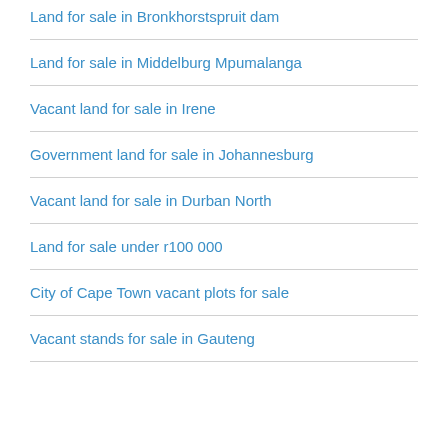Land for sale in Bronkhorstspruit dam
Land for sale in Middelburg Mpumalanga
Vacant land for sale in Irene
Government land for sale in Johannesburg
Vacant land for sale in Durban North
Land for sale under r100 000
City of Cape Town vacant plots for sale
Vacant stands for sale in Gauteng